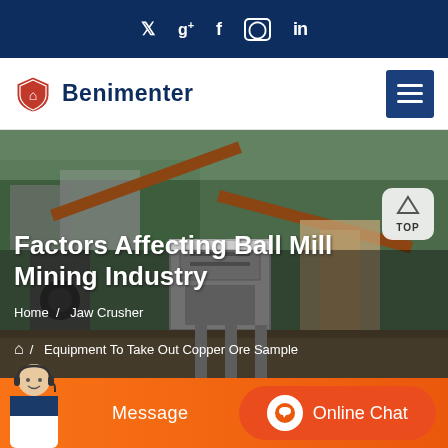Social media bar with Twitter, Google+, Facebook, Instagram, LinkedIn icons
[Figure (logo): Benimenter company logo with shield icon and navigation hamburger menu]
[Figure (photo): Mining industrial facility with conveyor belts, machinery, and open-air processing equipment]
Factors Affecting Ball Mill Mining Industry
Home / Jaw Crusher
/ Equipment To Take Out Copper Ore Sample
Message
Online Chat